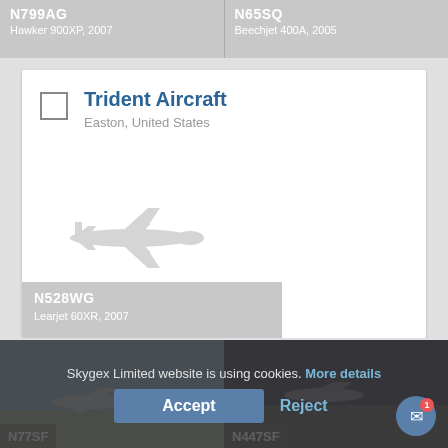N799AG
Hawker 900XP, 2007
N65SQ
Beechjet 400A, 2005
Trident Aircraft
Easton, United States
N528WG
Learjet 60XR, 2007
Seneca Flight Operations
Penn Yan, United States
N77SF
N447SF
Skygex Limited website is using cookies. More details
Accept
Reject